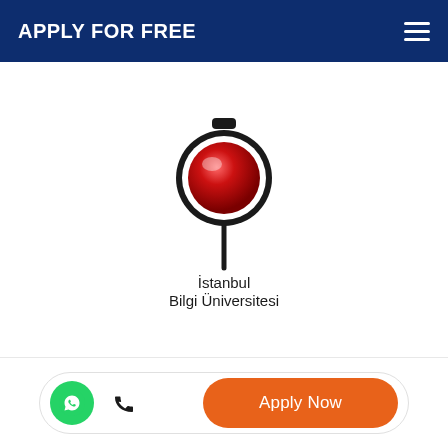APPLY FOR FREE
[Figure (logo): Istanbul Bilgi Üniversitesi logo: a magnifying glass with red sphere lens on a pin/stick stem, with text 'İstanbul Bilgi Üniversitesi' below]
Apply Now